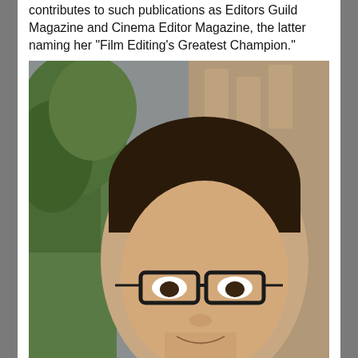contributes to such publications as Editors Guild Magazine and Cinema Editor Magazine, the latter naming her "Film Editing's Greatest Champion."
[Figure (photo): Portrait photo of Garret Savage, a man with dark hair, glasses, and a plaid shirt, standing outdoors in front of trees and brick buildings.]
Garret Savage is a editor and producer based in Brooklyn. His documentary editing credits include the Peabody Award-winning My Perestroika, HBO's How Democracy Works Now series, Ready, Set, Bag! (LA Film Festival), and IFC's 4-Cylinder 400. He is producing Rachel Shuman's upcoming feature documentary, The Fall and was